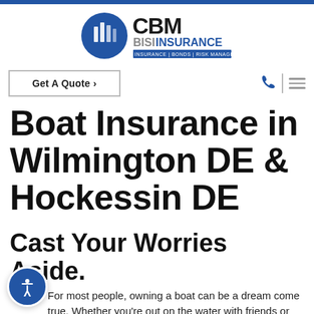[Figure (logo): CBM BISI Insurance logo — blue circular icon with building/bar graphic and text 'CBM BISI INSURANCE | INSURANCE | BONDS | RISK MANAGEMENT']
Get A Quote ›
Boat Insurance in Wilmington DE & Hockessin DE
Cast Your Worries Aside.
For most people, owning a boat can be a dream come true. Whether you're out on the water with friends or